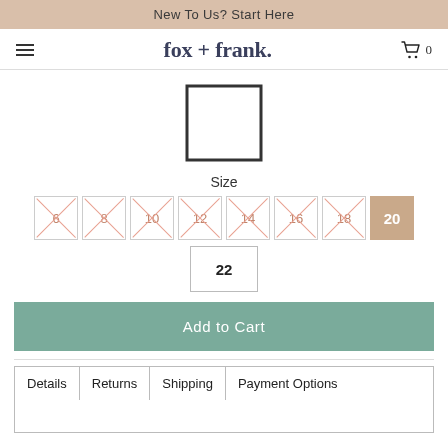New To Us? Start Here
fox + frank.
[Figure (other): Product image placeholder — white rectangle with dark border]
Size
[Figure (other): Size selector grid showing sizes 6, 8, 10, 12, 14, 16, 18 (all crossed out/unavailable in pink), size 20 (selected, tan background), and size 22 (available)]
Add to Cart
| Details | Returns | Shipping | Payment Options |
| --- | --- | --- | --- |